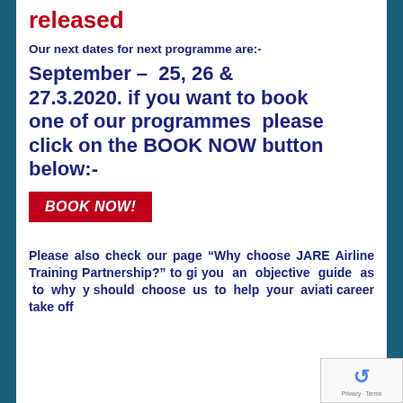released
Our next dates for next programme are:-
September – 25, 26 & 27.3.2020. if you want to book one of our programmes please click on the BOOK NOW button below:-
[Figure (other): Red button with white italic bold text reading BOOK NOW!]
Please also check our page “Why choose JARE Airline Training Partnership?” to gi you an objective guide as to why y should choose us to help your aviati career take off